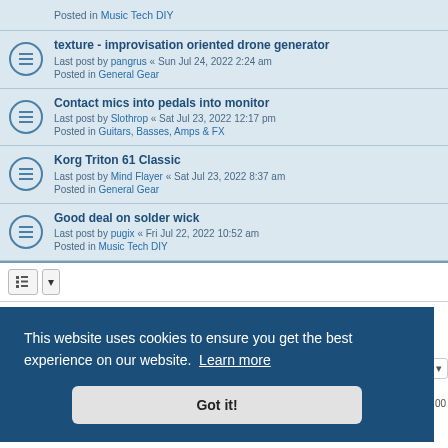Posted in Music Tech DIY
texture - improvisation oriented drone generator
Last post by pangrus « Sun Jul 24, 2022 2:24 am
Posted in General Gear
Contact mics into pedals into monitor
Last post by Slothrop « Sat Jul 23, 2022 12:17 pm
Posted in Guitars, Basses, Amps & FX
Korg Triton 61 Classic
Last post by Mind Flayer « Sat Jul 23, 2022 8:37 am
Posted in General Gear
Good deal on solder wick
Last post by pugix « Fri Jul 22, 2022 10:52 am
Posted in Music Tech DIY
Search found more than 1000 matches  1 2 3 4 5 ... 10 >
This website uses cookies to ensure you get the best experience on our website. Learn more
Got it!
UTC-05:00